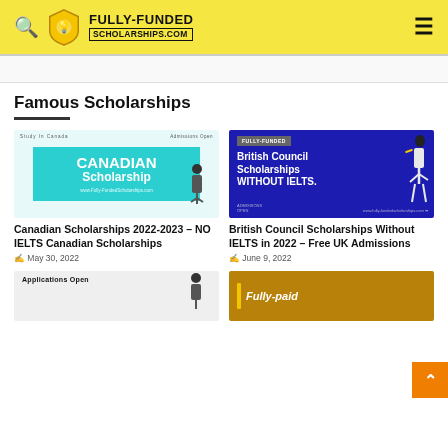FULLY-FUNDED SCHOLARSHIPS.COM
Famous Scholarships
[Figure (screenshot): Canadian Scholarship promotional image with teal background and white bold text]
Canadian Scholarships 2022-2023 – NO IELTS Canadian Scholarships
May 30, 2022
[Figure (screenshot): British Council Scholarships WITHOUT IELTS banner with blue background and white text]
British Council Scholarships Without IELTS in 2022 – Free UK Admissions
June 9, 2022
[Figure (screenshot): Applications Open scholarship card partially visible]
[Figure (screenshot): Fully-paid scholarship card partially visible with golden/brown background]